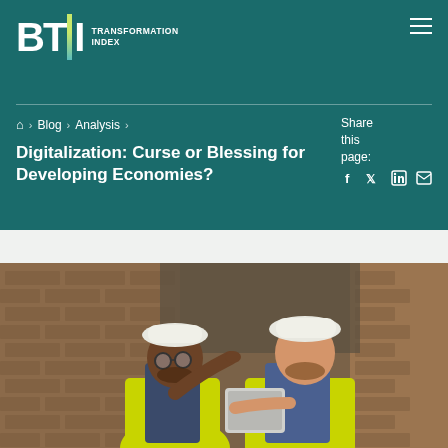BTI Transformation Index
Home > Blog > Analysis > Digitalization: Curse or Blessing for Developing Economies?
Share this page:
Digitalization: Curse or Blessing for Developing Economies?
[Figure (photo): Two construction workers wearing white hard hats and yellow safety vests, reviewing information on a tablet device at a construction site with brick walls in the background.]